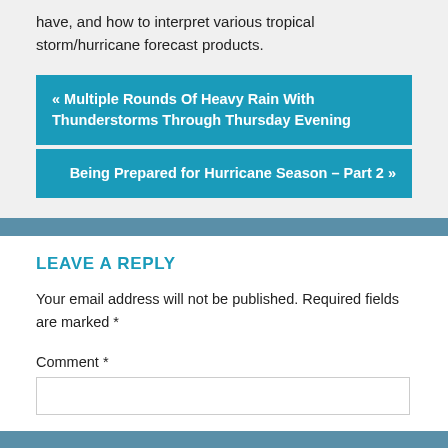have, and how to interpret various tropical storm/hurricane forecast products.
« Multiple Rounds Of Heavy Rain With Thunderstorms Through Thursday Evening
Being Prepared for Hurricane Season – Part 2 »
LEAVE A REPLY
Your email address will not be published. Required fields are marked *
Comment *